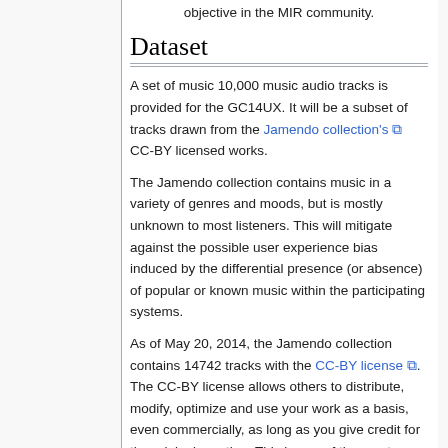objective in the MIR community.
Dataset
A set of music 10,000 music audio tracks is provided for the GC14UX. It will be a subset of tracks drawn from the Jamendo collection's CC-BY licensed works.
The Jamendo collection contains music in a variety of genres and moods, but is mostly unknown to most listeners. This will mitigate against the possible user experience bias induced by the differential presence (or absence) of popular or known music within the participating systems.
As of May 20, 2014, the Jamendo collection contains 14742 tracks with the CC-BY license. The CC-BY license allows others to distribute, modify, optimize and use your work as a basis, even commercially, as long as you give credit for the original creation. This is one of the most permissive licenses possible.
The 10,000 tracks in GC14UX will be sampled